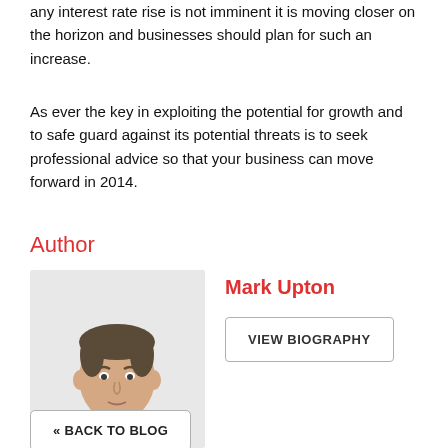any interest rate rise is not imminent it is moving closer on the horizon and businesses should plan for such an increase.
As ever the key in exploiting the potential for growth and to safe guard against its potential threats is to seek professional advice so that your business can move forward in 2014.
Author
[Figure (photo): Headshot photo of Mark Upton, a middle-aged man in a grey suit and tie, photographed against a white background.]
Mark Upton
VIEW BIOGRAPHY
« BACK TO BLOG